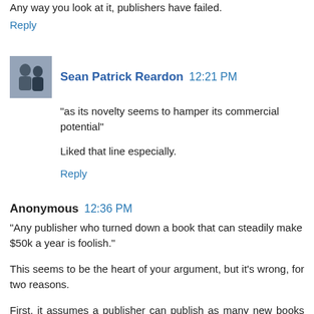Any way you look at it, publishers have failed.
Reply
Sean Patrick Reardon  12:21 PM
"as its novelty seems to hamper its commercial potential"
Liked that line especially.
Reply
Anonymous  12:36 PM
"Any publisher who turned down a book that can steadily make $50k a year is foolish."
This seems to be the heart of your argument, but it's wrong, for two reasons.
First, it assumes a publisher can publish as many new books as it wants to. But it can't. There's a practical limit to a publisher's output - per category, from a hundred or so to